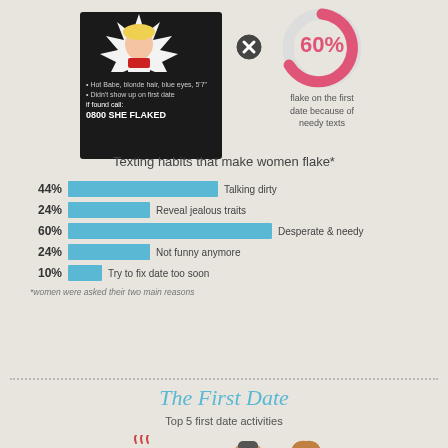[Figure (infographic): Wanted poster style dark card with cartoon blonde woman, text: Hot Babe, blonde hair, blue eyes, 5'7'. Didn't show up on first date. if found call: 0800 SHE FLAKED]
[Figure (donut-chart): 60% flake on the first date because of needy texts]
Texting habits that make women flake*
[Figure (bar-chart): Texting habits that make women flake*]
*women were asked their two main reasons
The First Date
Top 5 first date activities
[Figure (illustration): Icons row showing coffee cup with steam, X mark, and two cartoon faces (man and woman)]